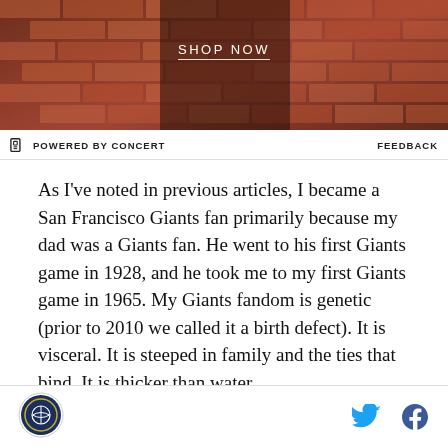[Figure (photo): Advertisement banner with dark reddish-brown brick background, showing 'SHOP NOW' text]
POWERED BY CONCERT   FEEDBACK
As I've noted in previous articles, I became a San Francisco Giants fan primarily because my dad was a Giants fan. He went to his first Giants game in 1928, and he took me to my first Giants game in 1965. My Giants fandom is genetic (prior to 2010 we called it a birth defect). It is visceral. It is steeped in family and the ties that bind. It is thicker than water.
I make a nearly-annual pilgrimage to Chicago, where I meet up with my best friend and take in the Cubs-Giants series at Wrigley Field. Prior to 2010, I was one
Logo | Twitter | Facebook